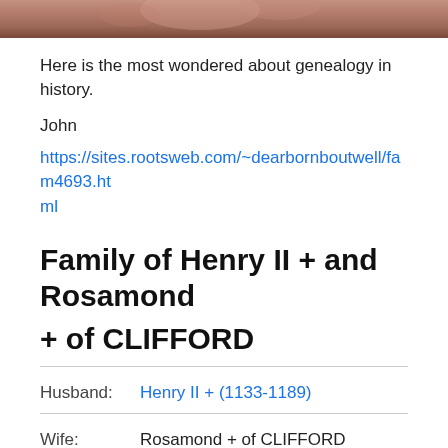[Figure (photo): Cropped bottom portion of a historical painting showing warm reddish-brown and skin tones, partial view of a figure]
Here is the most wondered about genealogy in history.
John
https://sites.rootsweb.com/~dearbornboutwell/fam4693.html
Family of Henry II + and Rosamond + of CLIFFORD
| Label | Value |
| --- | --- |
| Husband: | Henry II + (1133-1189) |
| Wife: | Rosamond + of CLIFFORD (1136-1176) |